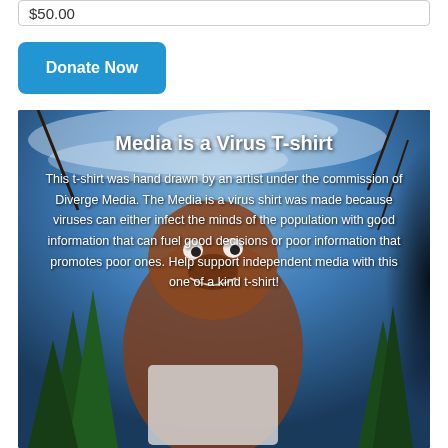$50.00
Donate Now
[Figure (illustration): Illustrated t-shirt artwork showing a cartoon bear/creature character with trees and swirling blue sky background, dark background on right edge]
Media is a Virus T-shirt
This t-shirt was hand drawn by an artist under the commission of Diverge Media. The Media is a virus shirt was made because viruses can either infect the minds of the population with good information that can fuel good decisions or poor information that promotes poor ones. Help support independent media with this one of a kind t-shirt!